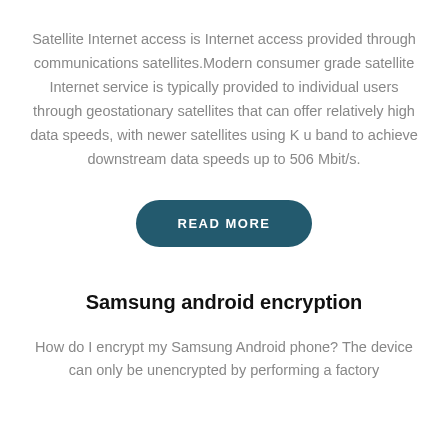Satellite Internet access is Internet access provided through communications satellites.Modern consumer grade satellite Internet service is typically provided to individual users through geostationary satellites that can offer relatively high data speeds, with newer satellites using K u band to achieve downstream data speeds up to 506 Mbit/s.
READ MORE
Samsung android encryption
How do I encrypt my Samsung Android phone? The device can only be unencrypted by performing a factory